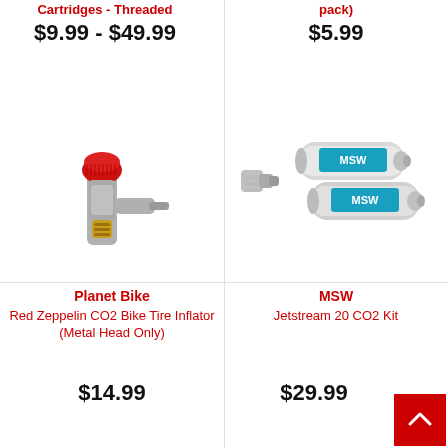Cartridges - Threaded
$9.99 - $49.99
pack)
$5.99
[Figure (photo): Planet Bike Red Zeppelin CO2 Bike Tire Inflator with red top knob and metal head]
[Figure (photo): MSW Jetstream 20 CO2 Kit with metal inflator head and two silver CO2 cartridges labeled MSW]
Planet Bike
Red Zeppelin CO2 Bike Tire Inflator (Metal Head Only)
$14.99
MSW
Jetstream 20 CO2 Kit
$29.99